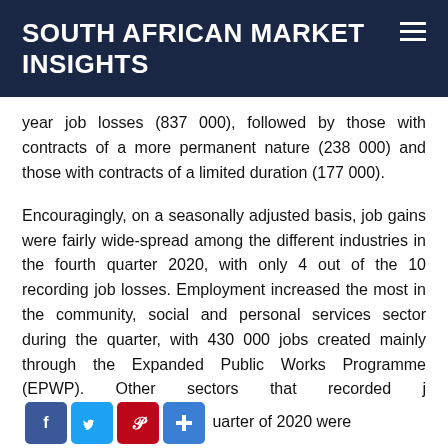SOUTH AFRICAN MARKET INSIGHTS
year job losses (837 000), followed by those with contracts of a more permanent nature (238 000) and those with contracts of a limited duration (177 000).
Encouragingly, on a seasonally adjusted basis, job gains were fairly wide-spread among the different industries in the fourth quarter 2020, with only 4 out of the 10 recording job losses. Employment increased the most in the community, social and personal services sector during the quarter, with 430 000 jobs created mainly through the Expanded Public Works Programme (EPWP). Other sectors that recorded j... quarter of 2020 were
[Figure (other): Social media share buttons: Facebook, Twitter, Pinterest, and a plus/more button]